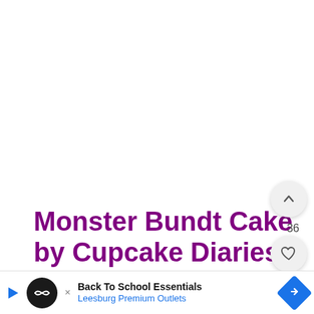Monster Bundt Cake by Cupcake Diaries
This Monster Bundt Cake is such a cute
and
[Figure (screenshot): Ad banner: Back To School Essentials, Leesburg Premium Outlets with logo and directional arrow]